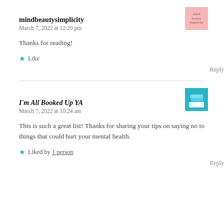mindbeautysimplicity
March 7, 2022 at 12:20 pm
Thanks for reading!
★ Like
Reply
I'm All Booked Up YA
March 7, 2022 at 10:24 am
This is such a great list! Thanks for sharing your tips on saying no to things that could hurt your mental health.
★ Liked by 1 person
Reply